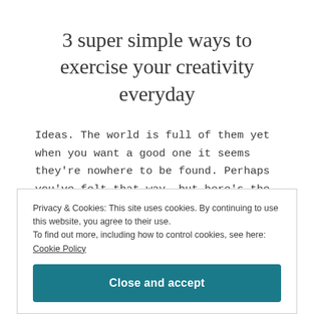3 super simple ways to exercise your creativity everyday
Ideas. The world is full of them yet when you want a good one it seems they're nowhere to be found. Perhaps you've felt that way, but here's the good news. When you're trained to recognize ideas you'll come to
Privacy & Cookies: This site uses cookies. By continuing to use this website, you agree to their use.
To find out more, including how to control cookies, see here: Cookie Policy
Close and accept